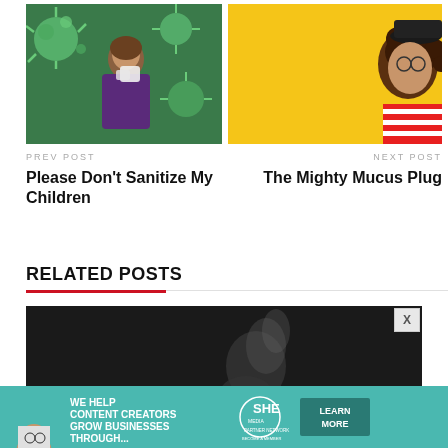[Figure (photo): Girl blowing nose with green virus particles in background]
[Figure (photo): Young woman with curly hair in red striped shirt on yellow background]
PREV POST
NEXT POST
Please Don't Sanitize My Children
The Mighty Mucus Plug
RELATED POSTS
[Figure (photo): Dark background related post image with smoke/vapor]
[Figure (infographic): SHE Partner Network advertisement banner: We help content creators grow businesses through... Learn More]